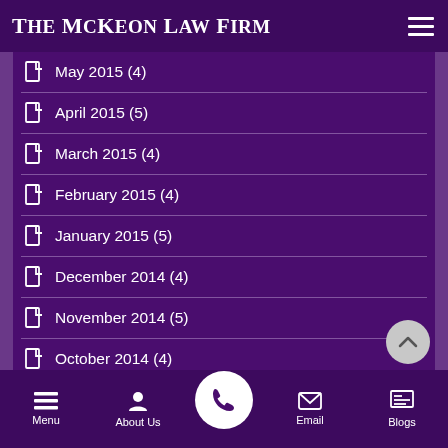The McKeon Law Firm
May 2015 (4)
April 2015 (5)
March 2015 (4)
February 2015 (4)
January 2015 (5)
December 2014 (4)
November 2014 (5)
October 2014 (4)
September 2014 (4)
August 2014 (4)
Menu  About Us  [phone]  Email  Blogs